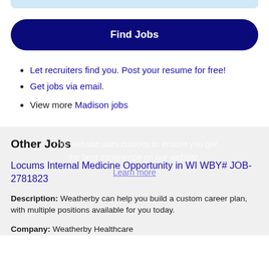[Figure (other): Light blue rounded top bar / header strip]
Find Jobs
Let recruiters find you. Post your resume for free!
Get jobs via email.
View more Madison jobs
Other Jobs
This website uses cookies to ensure you get the best experience on our website. Learn more
Locums Internal Medicine Opportunity in WI WBY# JOB-2781823
Description: Weatherby can help you build a custom career plan, with multiple positions available for you today.
Company: Weatherby Healthcare